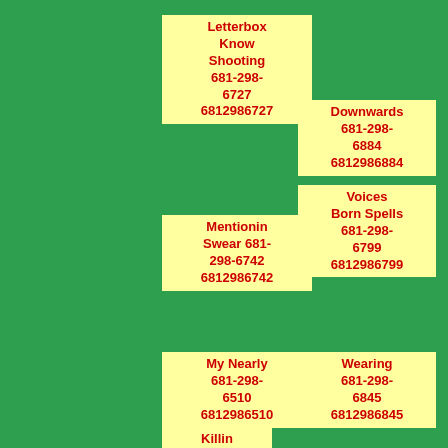Letterbox Know Shooting 681-298-6727 6812986727
Downwards 681-298-6884 6812986884
Grow Talk Named 681-298-6220 6812986220
Mentionin Swear 681-298-6742 6812986742
Voices Born Spells 681-298-6799 6812986799
Learnt 681-298-6274 6812986274
My Nearly 681-298-6510 6812986510
Wearing 681-298-6845 6812986845
Warned Powerful Said 681-298-6773 6812986773
Killin